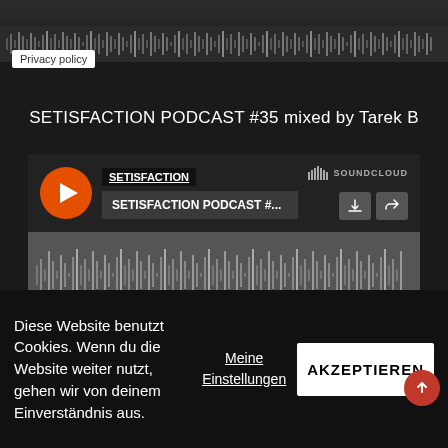[Figure (screenshot): Dark video/image area at top with noise waveform bar]
Privacy policy
SETISFACTION PODCAST #35 mixed by Tarek B
[Figure (screenshot): SoundCloud embedded player showing SETISFACTION / SETISFACTION PODCAST #... with play button, waveform, Play on SoundCloud button, and Listen in browser button]
Diese Website benutzt Cookies. Wenn du die Website weiter nutzt, gehen wir von deinem Einverständnis aus.
Meine Einstellungen
AKZEPTIEREN